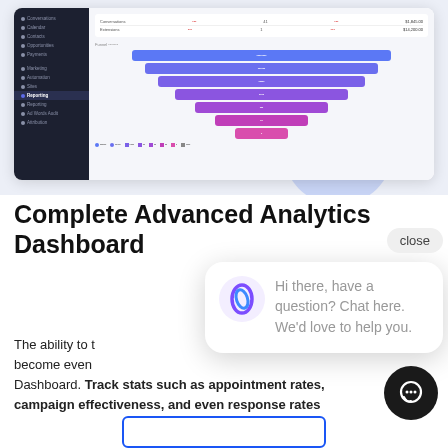[Figure (screenshot): Analytics dashboard screenshot showing a sidebar navigation with dark background and a funnel chart in the main content area, with colored horizontal bars narrowing from top to bottom (blue to purple to pink). A light blue circle is visible behind the dashboard.]
Complete Advanced Analytics Dashboard
The ability to [track/manage analytics has] become even [more powerful with the Advanced Analytics] Dashboard. Track stats such as appointment rates, campaign effectiveness, and even response rates
[Figure (screenshot): Chat popup widget overlay showing a purple logo icon and the text: 'Hi there, have a question? Chat here. We'd love to help you.' with a close button and a dark circular chat button in the bottom right.]